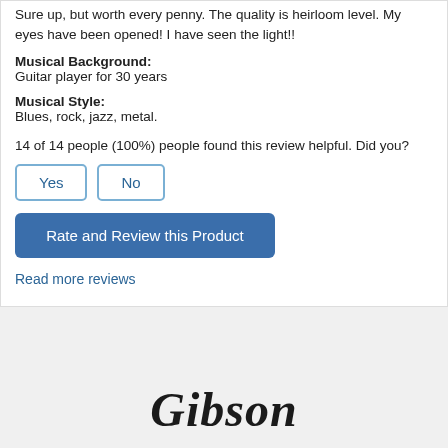Sure up, but worth every penny. The quality is heirloom level. My eyes have been opened! I have seen the light!!
Musical Background:
Guitar player for 30 years
Musical Style:
Blues, rock, jazz, metal.
14 of 14 people (100%) people found this review helpful. Did you?
Yes | No
Rate and Review this Product
Read more reviews
[Figure (logo): Gibson brand logo in stylized script font]